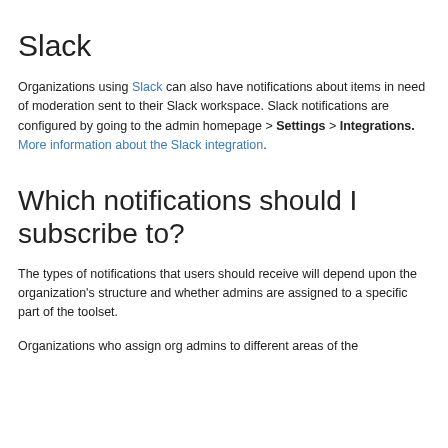Slack
Organizations using Slack can also have notifications about items in need of moderation sent to their Slack workspace. Slack notifications are configured by going to the admin homepage > Settings > Integrations. More information about the Slack integration.
Which notifications should I subscribe to?
The types of notifications that users should receive will depend upon the organization's structure and whether admins are assigned to a specific part of the toolset.
Organizations who assign org admins to different areas of the